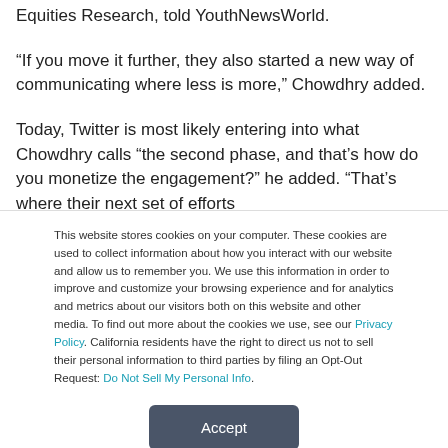Equities Research, told YouthNewsWorld.
“If you move it further, they also started a new way of communicating where less is more,” Chowdhry added.
Today, Twitter is most likely entering into what Chowdhry calls “the second phase, and that’s how do you monetize the engagement?” he added. “That’s where their next set of efforts
This website stores cookies on your computer. These cookies are used to collect information about how you interact with our website and allow us to remember you. We use this information in order to improve and customize your browsing experience and for analytics and metrics about our visitors both on this website and other media. To find out more about the cookies we use, see our Privacy Policy. California residents have the right to direct us not to sell their personal information to third parties by filing an Opt-Out Request: Do Not Sell My Personal Info.
Accept